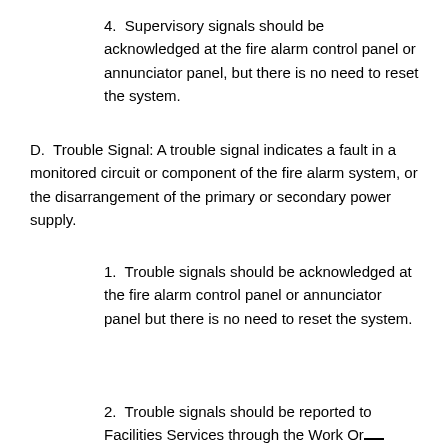4.  Supervisory signals should be acknowledged at the fire alarm control panel or annunciator panel, but there is no need to reset the system.
D.  Trouble Signal: A trouble signal indicates a fault in a monitored circuit or component of the fire alarm system, or the disarrangement of the primary or secondary power supply.
1.  Trouble signals should be acknowledged at the fire alarm control panel or annunciator panel but there is no need to reset the system.
2.  Trouble signals should be reported to Facilities Services through the Work Order